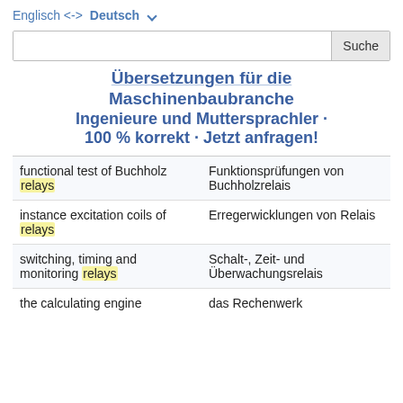Englisch <-> Deutsch
Übersetzungen für die Maschinenbaubranche Ingenieure und Muttersprachler · 100 % korrekt · Jetzt anfragen!
| English | Deutsch |
| --- | --- |
| functional test of Buchholz relays | Funktionsprüfungen von Buchholzrelais |
| instance excitation coils of relays | Erregerwicklungen von Relais |
| switching, timing and monitoring relays | Schalt-, Zeit- und Überwachungsrelais |
| the calculating engine | das Rechenwerk |